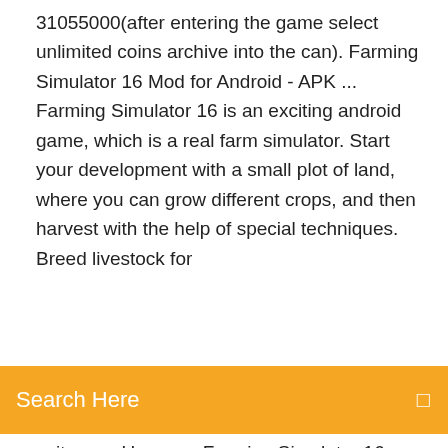31055000(after entering the game select unlimited coins archive into the can). Farming Simulator 16 Mod for Android - APK ... Farming Simulator 16 is an exciting android game, which is a real farm simulator. Start your development with a small plot of land, where you can grow different crops, and then harvest with the help of special techniques. Breed livestock for
Search Here
suits you. Use your Farming Simulator 16 v1.1.1.6.b231116 Apk Mod ...
14 Oct 2017 Farming Simulator 16 Free Apk + Data Offline On Android In this Video we will see How to Download Farming Simulator 16 for Free on Android  14 Oct 2019 Download Farming Simulator 16 APK OBB for Android. Farming Simulator 16 MOD APK & Farming Simulator 16 game download. Farming Farming Simulator 16 Mod Apk 1.1.1.6 [Unlimited money] Features. Farming mode for WiFi and Bluetooth (not available